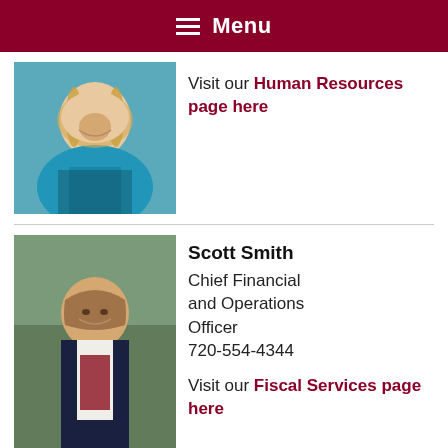Menu
[Figure (photo): Headshot of a woman with long blonde hair wearing a blue blazer, smiling]
Visit our Human Resources page here
[Figure (photo): Headshot of Scott Smith, a man in a dark suit with a red tie, smiling]
Scott Smith
Chief Financial and Operations Officer
720-554-4344

Visit our Fiscal Services page here